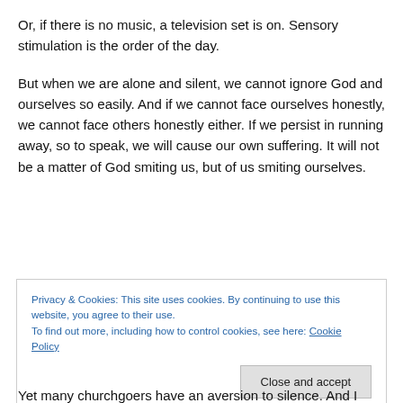Or, if there is no music, a television set is on.  Sensory stimulation is the order of the day.
But when we are alone and silent, we cannot ignore God and ourselves so easily.  And if we cannot face ourselves honestly, we cannot face others honestly either.  If we persist in running away, so to speak, we will cause our own suffering.  It will not be a matter of God smiting us, but of us smiting ourselves.
Privacy & Cookies: This site uses cookies. By continuing to use this website, you agree to their use.
To find out more, including how to control cookies, see here: Cookie Policy
Yet many churchgoers have an aversion to silence.  And I